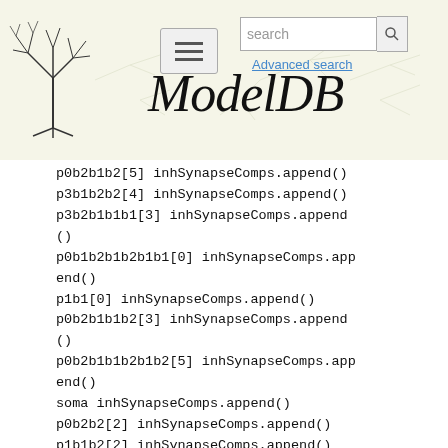[Figure (screenshot): ModelDB website header with tree logo, hamburger menu, search bar, Advanced search link, and ModelDB title in italic serif font on a light yellow-beige background with faint neuron diagrams]
p0b2b1b2[5] inhSynapseComps.append()
p3b1b2b2[4] inhSynapseComps.append()
p3b2b1b1b1[3] inhSynapseComps.append()
p0b1b2b1b2b1b1[0] inhSynapseComps.append()
p1b1[0] inhSynapseComps.append()
p0b2b1b1b2[3] inhSynapseComps.append()
p0b2b1b1b2b1b2[5] inhSynapseComps.append()
soma inhSynapseComps.append()
p0b2b2[2] inhSynapseComps.append()
p1b1b2[2] inhSynapseComps.append()
p3b2b1b1b1b2b2[9] inhSynapseComps.append()
p0b2b1b1b2b1b2[4] inhSynapseComps.append()
p0b2b1b2b1[0] inhSynapseComps.append()